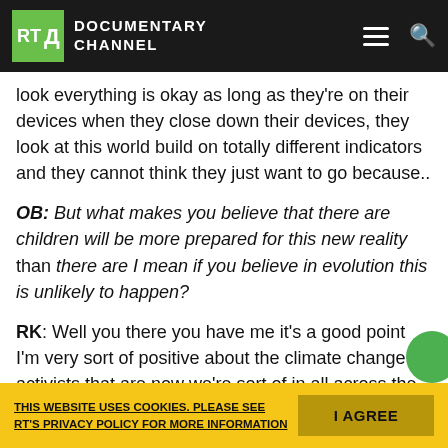RT Documentary Channel
look everything is okay as long as they're on their devices when they close down their devices, they look at this world build on totally different indicators and they cannot think they just want to go because..
OB: But what makes you believe that there are children will be more prepared for this new reality than there are I mean if you believe in evolution this is unlikely to happen?
RK: Well you there you have me it's a good point I'm very sort of positive about the climate change activists that are now we're sort of in all across the world so they're like 15-16-17, so that generation unlike the Millennials
THIS WEBSITE USES COOKIES. PLEASE SEE RT'S PRIVACY POLICY FOR MORE INFORMATION  I AGREE